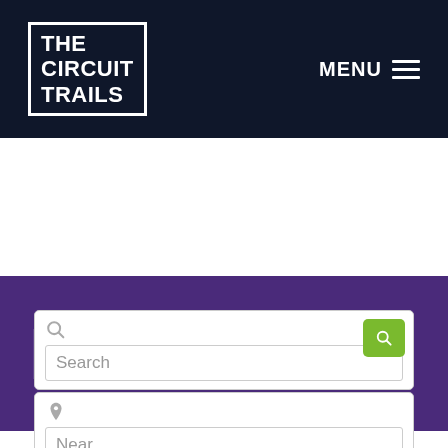THE CIRCUIT TRAILS
Events 2
Search
Near...